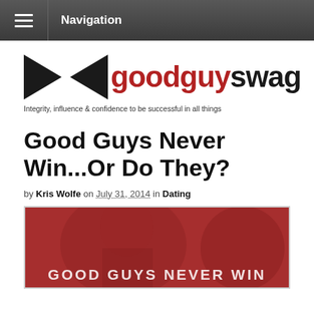Navigation
[Figure (logo): Good Guy Swag logo with bowtie icon and tagline: Integrity, influence & confidence to be successful in all things]
Good Guys Never Win...Or Do They?
by Kris Wolfe on July 31, 2014 in Dating
[Figure (photo): Red-tinted photo of a man with text overlay reading GOOD GUYS NEVER WIN]